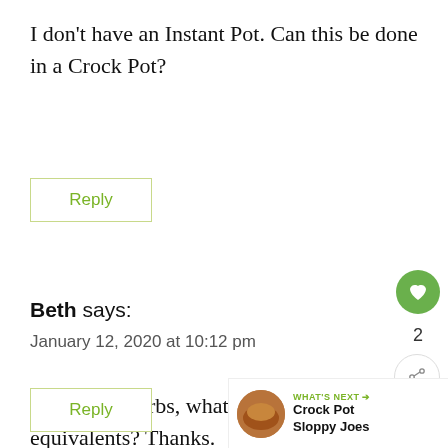I don't have an Instant Pot. Can this be done in a Crock Pot?
Reply
Beth says:
January 12, 2020 at 10:12 pm
If no fresh herbs, what are the dried equivalents? Thanks.
Reply